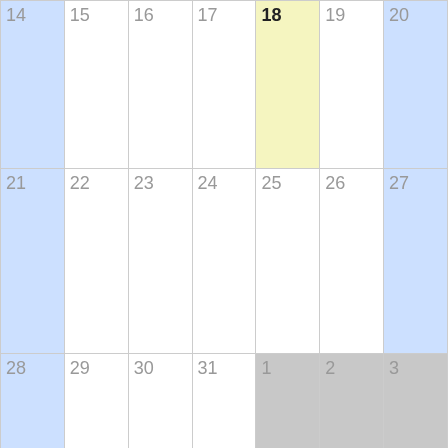[Figure (other): Bottom portion of a monthly calendar showing three rows of dates. Row 1: 14 (blue), 15, 16, 17, 18 (yellow/today highlighted), 19, 20 (blue). Row 2: 21 (blue), 22, 23, 24, 25, 26, 27 (blue). Row 3: 28 (blue), 29, 30, 31, 1 (gray/next month), 2 (gray), 3 (gray).]